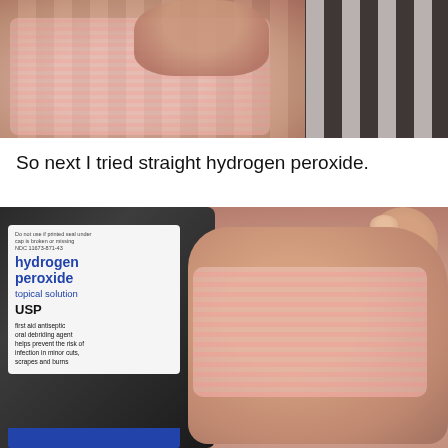[Figure (photo): Close-up photo of a person in a pink striped shirt holding something, with dark vertical stripes/curtains in background]
So next I tried straight hydrogen peroxide.
[Figure (photo): Photo showing a hydrogen peroxide topical solution USP bottle label next to a sleeping baby in a pink striped outfit. The label reads: hydrogen peroxide, topical solution, USP, first aid antiseptic, oral debriding agent, helps prevent the risk of infection in minor cuts, scrapes and burns]